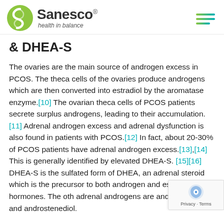Sanesco® health in balance
& DHEA-S
The ovaries are the main source of androgen excess in PCOS. The theca cells of the ovaries produce androgens which are then converted into estradiol by the aromatase enzyme.[10] The ovarian theca cells of PCOS patients secrete surplus androgens, leading to their accumulation.[11] Adrenal androgen excess and adrenal dysfunction is also found in patients with PCOS.[12] In fact, about 20-30% of PCOS patients have adrenal androgen excess.[13],[14] This is generally identified by elevated DHEA-S.[15][16] DHEA-S is the sulfated form of DHEA, an adrenal steroid which is the precursor to both androgen and estrogen sex hormones. The other adrenal androgens are androstenedione and androstenediol.